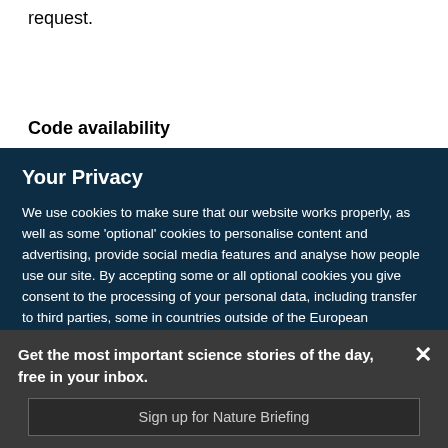request.
Code availability
Your Privacy
We use cookies to make sure that our website works properly, as well as some ‘optional’ cookies to personalise content and advertising, provide social media features and analyse how people use our site. By accepting some or all optional cookies you give consent to the processing of your personal data, including transfer to third parties, some in countries outside of the European Economic Area that do not offer the same data protection standards as the country where you live. You can decide which optional cookies to accept by clicking on ‘Manage Settings’, where you can also find more information about how your personal data is processed. Further information can be found in our privacy policy
Get the most important science stories of the day, free in your inbox.
Sign up for Nature Briefing